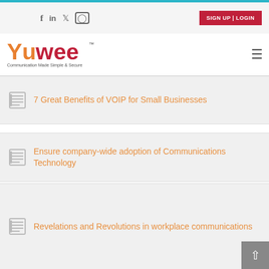SIGN UP | LOGIN
[Figure (logo): Yuwee logo with text 'Communication Made Simple & Secure']
7 Great Benefits of VOIP for Small Businesses
Ensure company-wide adoption of Communications Technology
Revelations and Revolutions in workplace communications